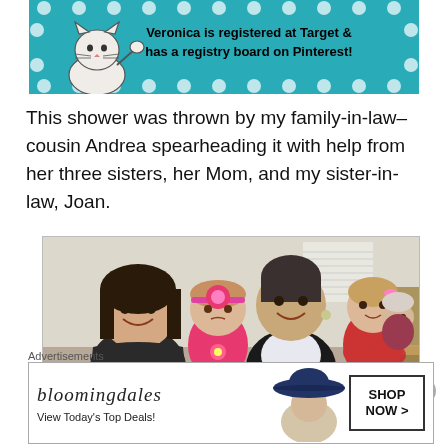[Figure (illustration): Banner with teal/turquoise background featuring a cartoon cat figure on the left, white polka dots around the edges, and bold text reading: Veronica is registered at Target & has a registry board on Pinterest!]
This shower was thrown by my family-in-law– cousin Andrea spearheading it with help from her three sisters, her Mom, and my sister-in-law, Joan.
[Figure (photo): Photo of two women and two toddlers. A woman with dark hair on the left holds a toddler wearing a pink flower headband and pink outfit. A taller woman in the center/right holds another toddler in a pink/red outfit. An elderly woman is visible in the background.]
Advertisements
[Figure (other): Bloomingdale's advertisement: 'bloomingdales View Today's Top Deals!' with an image of a woman wearing a large dark hat, and a button reading 'SHOP NOW >']